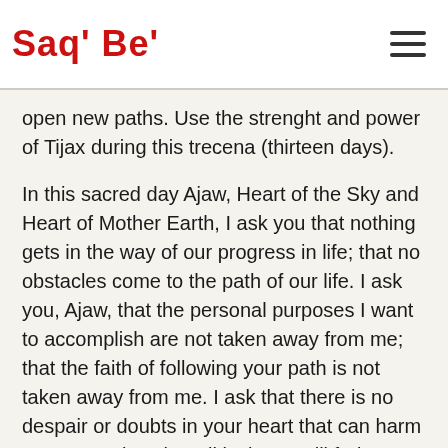Saq' Be'
open new paths. Use the strenght and power of Tijax during this trecena (thirteen days).
In this sacred day Ajaw, Heart of the Sky and Heart of Mother Earth, I ask you that nothing gets in the way of our progress in life; that no obstacles come to the path of our life. I ask you, Ajaw, that the personal purposes I want to accomplish are not taken away from me; that the faith of following your path is not taken away from me. I ask that there is no despair or doubts in your heart that can harm my prosperity. That all laziness will fade away from my body, from my hands, from my feet, from my ears, and from my mind. Grant me the cornerstone of intelligence at every moment of my life, so that anything I study,